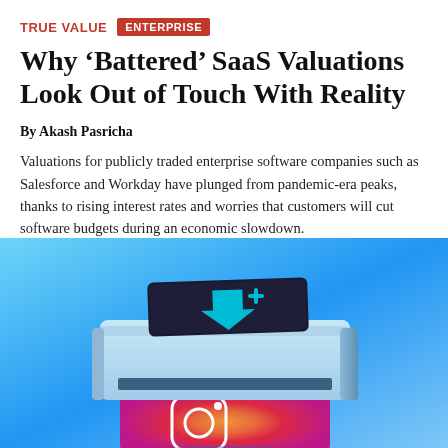TRUE VALUE  ENTERPRISE
Why ‘Battered’ SaaS Valuations Look Out of Touch With Reality
By Akash Pasricha
Valuations for publicly traded enterprise software companies such as Salesforce and Workday have plunged from pandemic-era peaks, thanks to rising interest rates and worries that customers will cut software budgets during an economic slowdown.
[Figure (photo): 3D illustration of a printing device on a bright blue background, with a smartphone showing an Instagram logo being printed/ejected from the device, and a dark wallet-like object on top with a teal arrow pointing downward.]